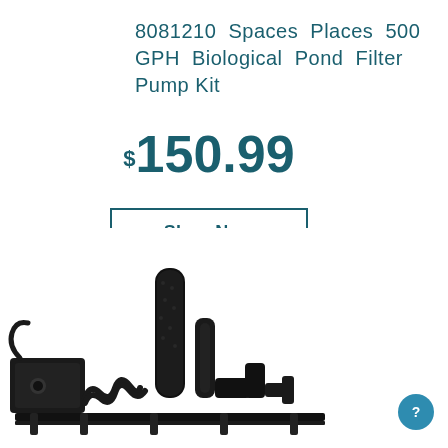8081210 Spaces Places 500 GPH Biological Pond Filter Pump Kit
$150.99
Shop Now
[Figure (photo): Product photo of a black biological pond filter pump kit with various components including pump, foam filter, tubing, and fittings arranged together]